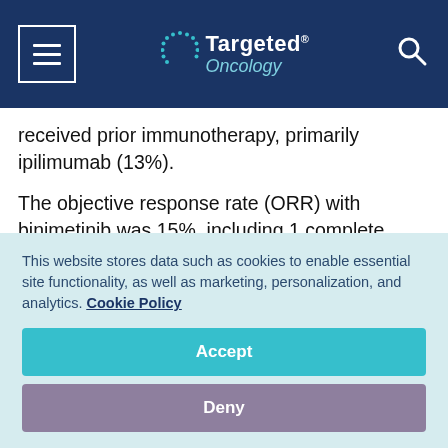Targeted Oncology
received prior immunotherapy, primarily ipilimumab (13%).
The objective response rate (ORR) with binimetinib was 15%, including 1 complete response, compared with 7% for dacarbazine. When adding those with stable disease to ORR, the disease control rate was 58% with the targeted therapy versus 35% with
This website stores data such as cookies to enable essential site functionality, as well as marketing, personalization, and analytics. Cookie Policy
Accept
Deny